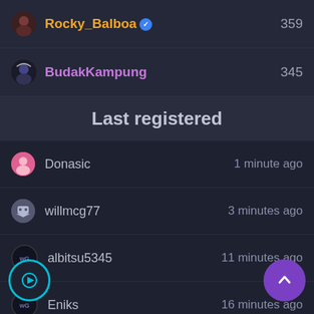Rocky_Balboa ✓ 359
BudakKampung 345
Last registered
Donasic — 1 minute ago
willmcg77 — 3 minutes ago
albitsu5345 — 11 minutes ago
Eniks — 16 minutes ago
xBiti_2 — 19 minutes ago
This site uses cookies to help personalise content, tailor your experience and to keep you logged in if you register. By continuing to use this site, you are consenting to our use of cookies.
✓ Accept   Learn more...